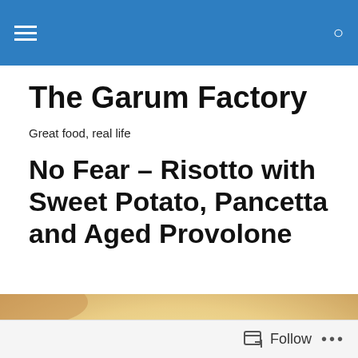The Garum Factory – navigation header bar
The Garum Factory
Great food, real life
No Fear – Risotto with Sweet Potato, Pancetta and Aged Provolone
[Figure (photo): Close-up photo of risotto with sweet potato, pancetta and aged provolone – creamy rice with orange sweet potato chunks and herbs visible in a bowl]
Follow  •••